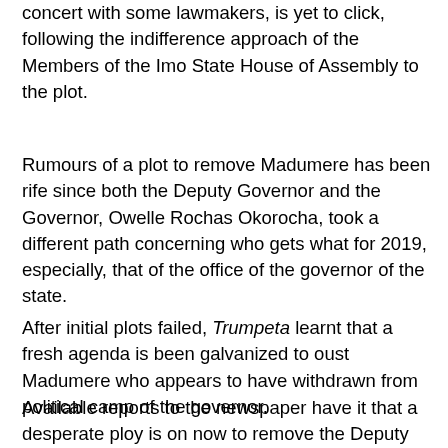concert with some lawmakers, is yet to click, following the indifference approach of the Members of the Imo State House of Assembly to the plot.
Rumours of a plot to remove Madumere has been rife since both the Deputy Governor and the Governor, Owelle Rochas Okorocha, took a different path concerning who gets what for 2019, especially, that of the office of the governor of the state.
After initial plots failed, Trumpeta learnt that a fresh agenda is been galvanized to oust Madumere who appears to have withdrawn from political camp of the governor.
Available reports to the newspaper have it that a desperate ploy is on now to remove the Deputy Governor through the constitutional means of using the state lawmakers by way of impeachment. The new plan was said to be incensed by the recent attitude of the number two citizen of the state with